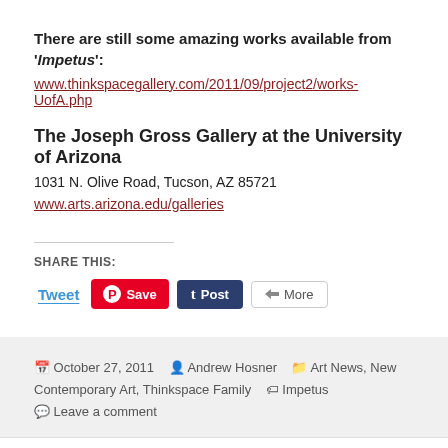There are still some amazing works available from 'Impetus':
www.thinkspacegallery.com/2011/09/project2/works-UofA.php
The Joseph Gross Gallery at the University of Arizona
1031 N. Olive Road, Tucson, AZ 85721
www.arts.arizona.edu/galleries
SHARE THIS:
[Figure (screenshot): Social share buttons: Tweet, Save (Pinterest), Post (Tumblr), More]
October 27, 2011  Andrew Hosner  Art News, New Contemporary Art, Thinkspace Family  Impetus  Leave a comment
Proudly powered by WordPress